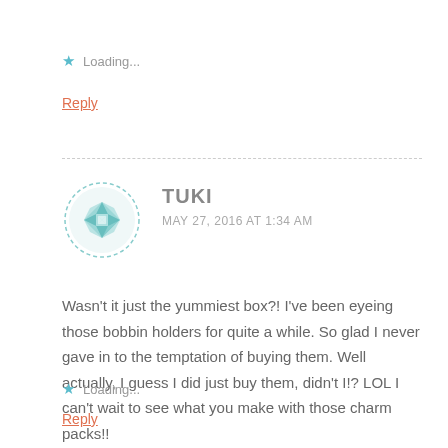★ Loading...
Reply
[Figure (illustration): Circular avatar with teal/mint geometric quilt-pattern design, dashed circular border]
TUKI
MAY 27, 2016 AT 1:34 AM
Wasn't it just the yummiest box?! I've been eyeing those bobbin holders for quite a while. So glad I never gave in to the temptation of buying them. Well actually, I guess I did just buy them, didn't I!? LOL I can't wait to see what you make with those charm packs!!
★ Loading...
Reply